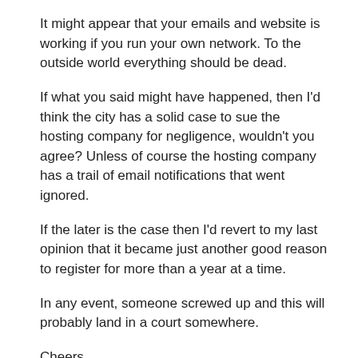It might appear that your emails and website is working if you run your own network. To the outside world everything should be dead.
If what you said might have happened, then I'd think the city has a solid case to sue the hosting company for negligence, wouldn't you agree? Unless of course the hosting company has a trail of email notifications that went ignored.
If the later is the case then I'd revert to my last opinion that it became just another good reason to register for more than a year at a time.
In any event, someone screwed up and this will probably land in a court somewhere.
Cheers